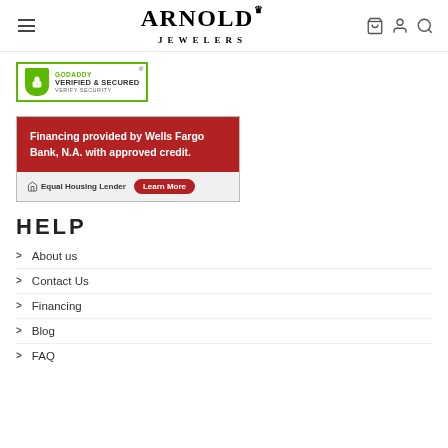ARNOLD JEWELERS
[Figure (logo): GoDaddy Verified & Secured badge with green shield and lock icon]
[Figure (infographic): Wells Fargo financing banner: 'Financing provided by Wells Fargo Bank, N.A. with approved credit.' Red background top section, grey bottom with Equal Housing Lender and Learn More button]
HELP
About us
Contact Us
Financing
Blog
FAQ